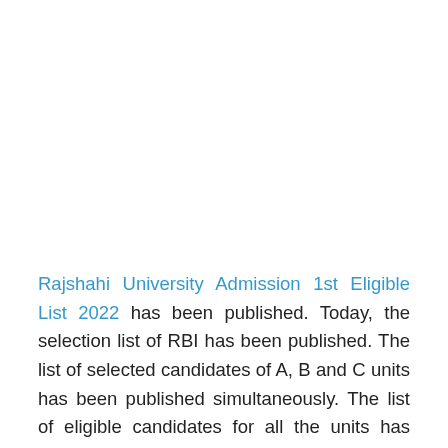Rajshahi University Admission 1st Eligible List 2022 has been published. Today, the selection list of RBI has been published. The list of selected candidates of A, B and C units has been published simultaneously. The list of eligible candidates for all the units has been published on the Admission Ru AC BD website. 45,000 candidates from each unit have been selected